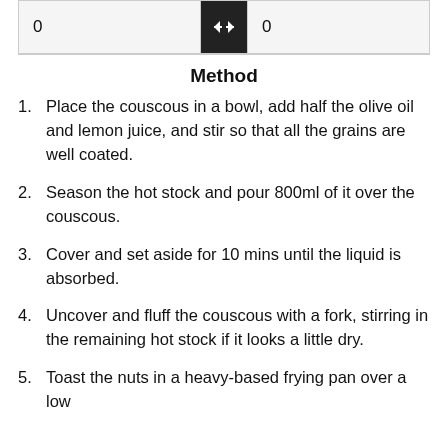| 0 |  | 0 |
| --- | --- | --- |
Method
Place the couscous in a bowl, add half the olive oil and lemon juice, and stir so that all the grains are well coated.
Season the hot stock and pour 800ml of it over the couscous.
Cover and set aside for 10 mins until the liquid is absorbed.
Uncover and fluff the couscous with a fork, stirring in the remaining hot stock if it looks a little dry.
Toast the nuts in a heavy-based frying pan over a low